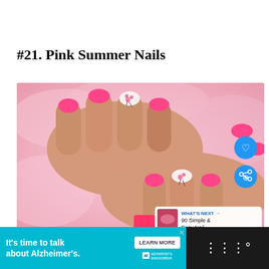#21. Pink Summer Nails
[Figure (photo): Close-up photo of hands with pink summer nail art — bright pink nails with one accent nail featuring a detailed floral design with pink flowers and dark leaves on a white base. Background is pink fluffy fabric. Social media overlay icons (heart, share) and a 'What's Next' thumbnail for '90 Simple & Easy Nail...' are visible.]
WHAT'S NEXT → 90 Simple & Easy Nail...
It's time to talk about Alzheimer's. LEARN MORE  alzheimer's association